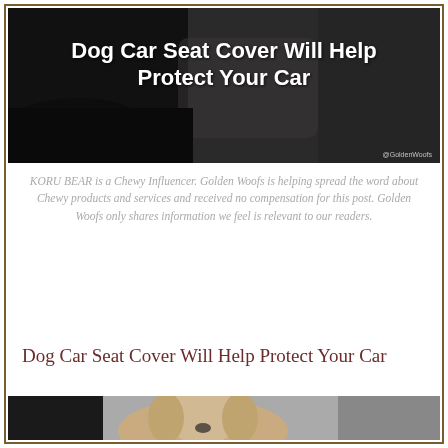[Figure (photo): Dog in car interior with overlaid bold white text on dark background. Text reads: Dog Car Seat Cover Will Help Protect Your Car. Watermark: @GoldenWoofs]
KORU BEAR is a Chewy Influencer. Golden Woofs is helping spread the word about Chewy products and services and received no compensation for this post. Golden Woofs only shares information we feel is relevant to our readers.
Dog Car Seat Cover Will Help Protect Your Car
[Figure (photo): Golden Retriever dog sitting in back seat of car, smiling, wearing red bandana. Gray seat cover visible.]